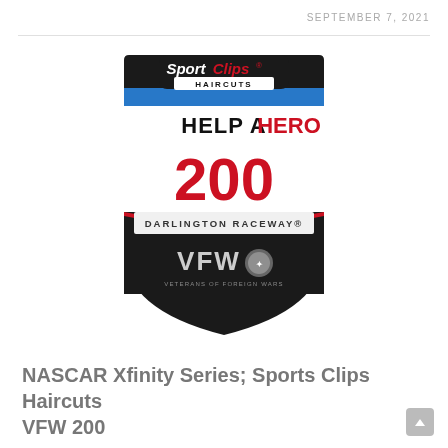SEPTEMBER 7, 2021
[Figure (logo): Sport Clips Haircuts Help A Hero 200 Darlington Raceway VFW logo — shield-shaped badge with dark background, blue stripe, 'Sport Clips Haircuts' at top, 'HELP A HERO' in bold black/red text, '200' in large red numerals, 'DARLINGTON RACEWAY' text, and VFW (Veterans of Foreign Wars) emblem at bottom.]
NASCAR Xfinity Series; Sports Clips Haircuts VFW 200